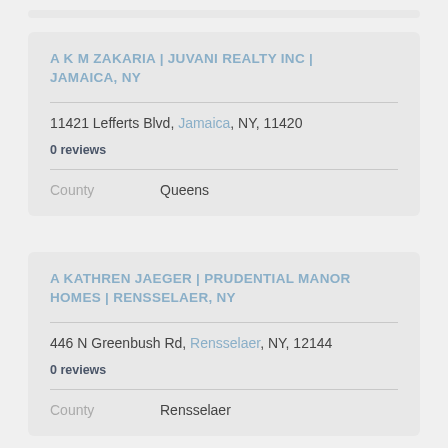A K M ZAKARIA | JUVANI REALTY INC | JAMAICA, NY
11421 Lefferts Blvd, Jamaica, NY, 11420
0 reviews
County   Queens
A KATHREN JAEGER | PRUDENTIAL MANOR HOMES | RENSSELAER, NY
446 N Greenbush Rd, Rensselaer, NY, 12144
0 reviews
County   Rensselaer